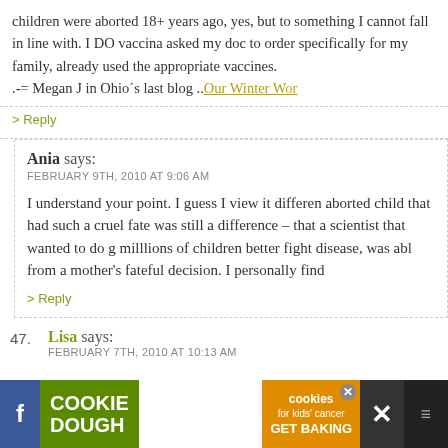children were aborted 18+ years ago, yes, but to something I cannot fall in line with. I DO vaccina asked my doc to order specifically for my family, already used the appropriate vaccines. .-= Megan J in Ohio's last blog .. Our Winter Wor
> Reply
Ania says: FEBRUARY 9TH, 2010 AT 9:06 AM
I understand your point. I guess I view it differen aborted child that had such a cruel fate was still a difference – that a scientist that wanted to do g milllions of children better fight disease, was abl from a mother's fateful decision. I personally find
> Reply
47. Lisa says: FEBRUARY 7TH, 2010 AT 10:13 AM
[Figure (screenshot): Advertisement banner: Cookie Dough / Childhood cancer didn't stop for COVID-19 / cookies for kids' cancer GET BAKING]